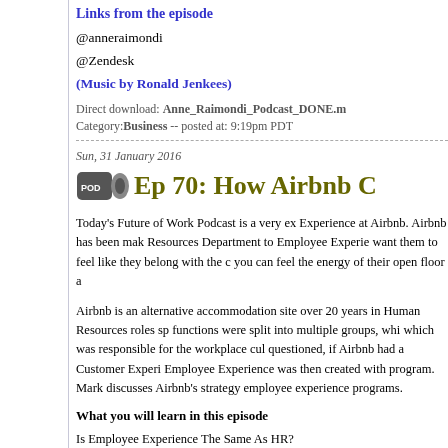Links from the episode
@anneraimondi
@Zendesk
(Music by Ronald Jenkees)
Direct download: Anne_Raimondi_Podcast_DONE.m
Category: Business -- posted at: 9:19pm PDT
Sun, 31 January 2016
Ep 70: How Airbnb C
Today's Future of Work Podcast is a very ex Experience at Airbnb. Airbnb has been mak Resources Department to Employee Experie want them to feel like they belong with the c you can feel the energy of their open floor a
Airbnb is an alternative accommodation site over 20 years in Human Resources roles sp functions were split into multiple groups, whi which was responsible for the workplace cul questioned, if Airbnb had a Customer Experi Employee Experience was then created with program. Mark discusses Airbnb's strategy employee experience programs.
What you will learn in this episode
Is Employee Experience The Same As HR?
Should All Organizations Have A Person In C
What Does Airbnb Do To Create Employee